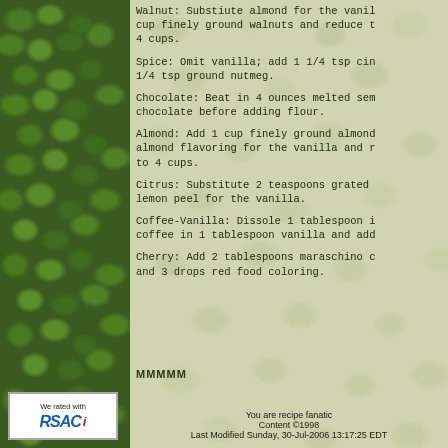Walnut: Substiute almond for the vanilla; add 1 cup finely ground walnuts and reduce the flour to 4 cups.
Spice: Omit vanilla; add 1 1/4 tsp cinnamon and 1/4 tsp ground nutmeg.
Chocolate: Beat in 4 ounces melted semisweet chocolate before adding flour.
Almond: Add 1 cup finely ground almonds and almond flavoring for the vanilla and reduce flour to 4 cups.
Citrus: Substitute 2 teaspoons grated orange or lemon peel for the vanilla.
Coffee-Vanilla: Dissole 1 tablespoon instant coffee in 1 tablespoon vanilla and add to mixture.
Cherry: Add 2 tablespoons maraschino cherry juice and 3 drops red food coloring.
MMMMM
You are recipe fanatic
Content ©1998
Last Modified Sunday, 30-Jul-2006 13:17:25 EDT